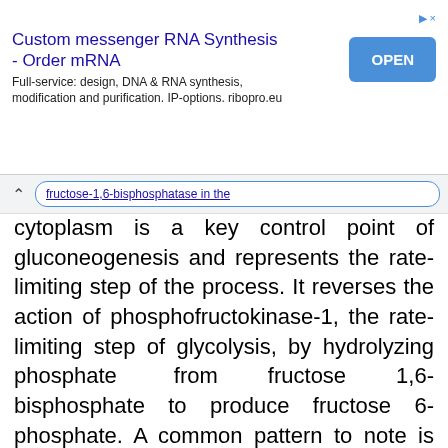[Figure (other): Advertisement banner: Custom messenger RNA Synthesis - Order mRNA. Full-service: design, DNA & RNA synthesis, modification and purification. IP-options. ribopro.eu. With an OPEN button.]
...fructose-1,6-bisphosphatase... in the cytoplasm is a key control point of gluconeogenesis and represents the rate-limiting step of the process. It reverses the action of phosphofructokinase-1, the rate-limiting step of glycolysis, by hydrolyzing phosphate from fructose 1,6-bisphosphate to produce fructose 6-phosphate. A common pattern to note is that
phosphatases oppose kinases. Fructose-1,6-bisphosphatase is activated by ATP and inhibited by AMP and fructose 2,6-